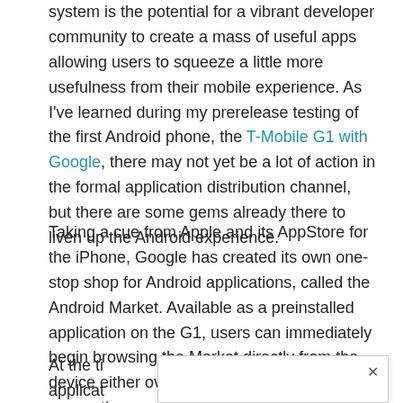system is the potential for a vibrant developer community to create a mass of useful apps allowing users to squeeze a little more usefulness from their mobile experience. As I've learned during my prerelease testing of the first Android phone, the T-Mobile G1 with Google, there may not yet be a lot of action in the formal application distribution channel, but there are some gems already there to liven up the Android experience.
Taking a cue from Apple and its AppStore for the iPhone, Google has created its own one-stop shop for Android applications, called the Android Market. Available as a preinstalled application on the G1, users can immediately begin browsing the Market directly from the device either over Wi-Fi or a cellular data connection.
At the ti applicat y of the